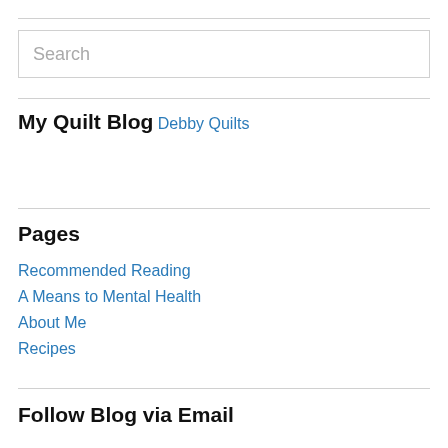Search
My Quilt Blog
Debby Quilts
Pages
Recommended Reading
A Means to Mental Health
About Me
Recipes
Follow Blog via Email